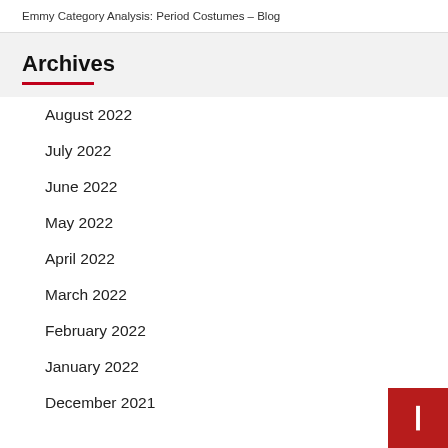Emmy Category Analysis: Period Costumes – Blog
Archives
August 2022
July 2022
June 2022
May 2022
April 2022
March 2022
February 2022
January 2022
December 2021